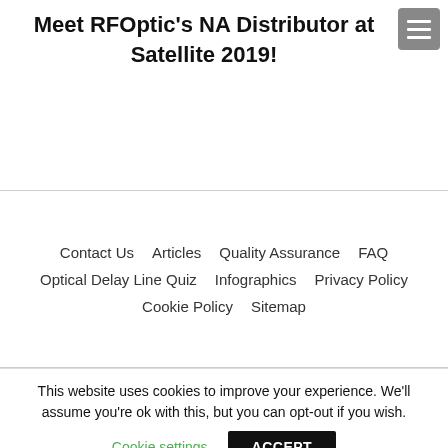Meet RFOptic's NA Distributor at Satellite 2019!
Contact Us   Articles   Quality Assurance   FAQ   Optical Delay Line Quiz   Infographics   Privacy Policy   Cookie Policy   Sitemap
This website uses cookies to improve your experience. We'll assume you're ok with this, but you can opt-out if you wish.
Cookie settings   ACCEPT